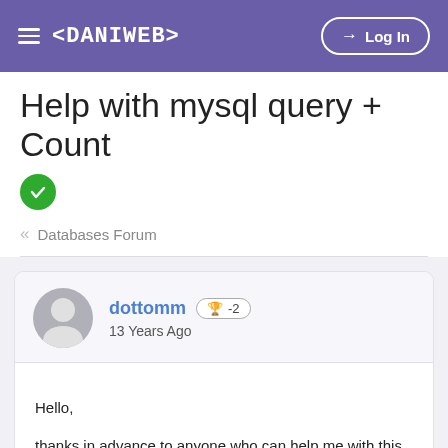<DANIWEB> Log In
Help with mysql query + Count
« Databases Forum
dottomm 🏆 -2
13 Years Ago
Hello,

thanks in advance to anyone who can help me with this query.

What I am trying to do is to retreieve a list of all the users from the table 'users' and count how many posts the user has made.